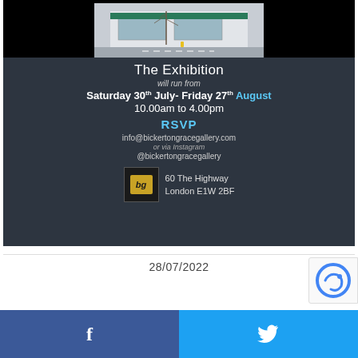[Figure (photo): Exhibition invitation card on dark background showing a street photo of a gallery storefront at top, followed by event details text in white and blue on a dark slate background, with gallery logo and address at bottom]
The Exhibition
will run from
Saturday 30th July- Friday 27th August
10.00am to 4.00pm
RSVP
info@bickertongracegallery.com
or via Instagram
@bickertongracegallery
60 The Highway
London E1W 2BF
28/07/2022
f
🐦